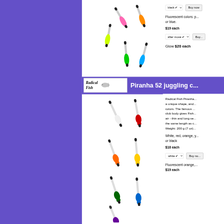[Figure (photo): Juggling clubs in fluorescent colors (pink, orange, yellow-green, green, blue) with black ends on white background]
Fluorescent colors: p... or blue.
$19 each
after move [dropdown] Buy...
Glow $20 each
[Figure (logo): Radical Fish logo with fish illustration]
Piranha 52 juggling c...
[Figure (photo): Piranha 52 juggling clubs in white, red, orange, yellow, green, blue, purple with black ends]
Radical Fish Piranha... a unique shape, and... colors. The famous... club body gives Fish... air - thin and long se... the same length as c... Weight: 200 g (7 oz)...
White, red, orange, y... or black
$18 each
white [dropdown] Buy no...
Fluorescent orange,...
$19 each